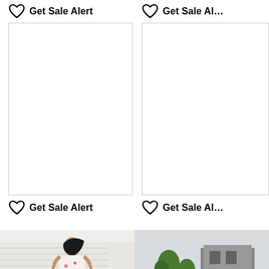Get Sale Alert
Get Sale Alert
[Figure (photo): White product image placeholder box (left)]
[Figure (photo): White product image placeholder box (right, partially cropped)]
Get Sale Alert
Get Sale Alert
[Figure (photo): Woman in white floral off-shoulder dress]
[Figure (photo): Outdoor scene with building and plants]